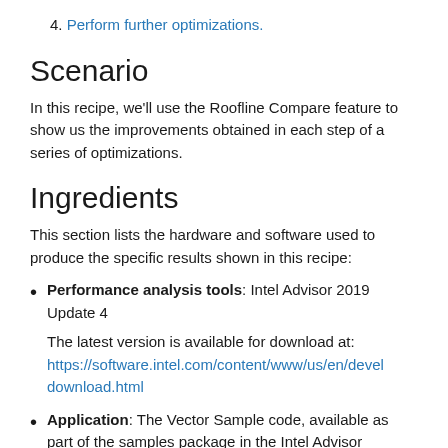4. Perform further optimizations.
Scenario
In this recipe, we'll use the Roofline Compare feature to show us the improvements obtained in each step of a series of optimizations.
Ingredients
This section lists the hardware and software used to produce the specific results shown in this recipe:
Performance analysis tools: Intel Advisor 2019 Update 4

The latest version is available for download at: https://software.intel.com/content/www/us/en/devel.../download.html
Application: The Vector Sample code, available as part of the samples package in the Intel Advisor installation folder. The code and